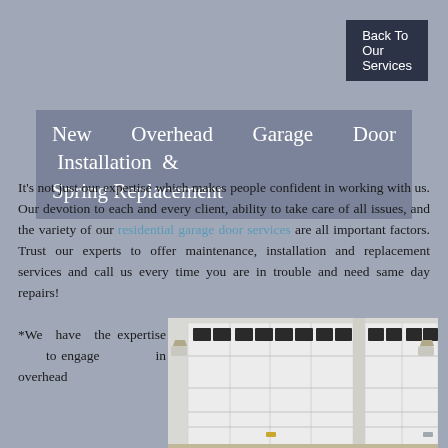Back To Our Services
New Overhead Garage Door Installation & Spring Replacement
It's not just our expertise which makes people confident in working with us. Our devotion to each and every client, ability to take care of all issues, and the variety of our residential garage door services are all important factors. Trust our experts to offer maintenance, installation and replacement services and call us every time you are in trouble and need same day repairs!
*We have the expertise to engage in overhead
[Figure (photo): Photograph of two white overhead garage doors with windows and wall-mounted light fixtures]